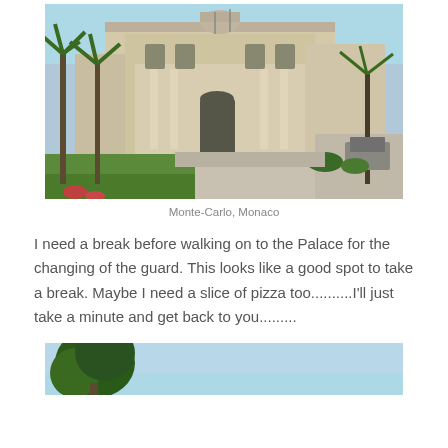[Figure (photo): Photograph of an ornate building in Monte-Carlo, Monaco, with palm trees, manicured green lawns, and a street visible on the right. The building features elaborate classical architecture with columns and decorative facades under a clear blue sky.]
Monte-Carlo, Monaco
I need a break before walking on to the Palace for the changing of the guard. This looks like a good spot to take a break. Maybe I need a slice of pizza too..........I'll just take a minute and get back to you.........
[Figure (photo): Partial photograph showing blue sky and the top of a tree, cropped at the bottom of the page.]